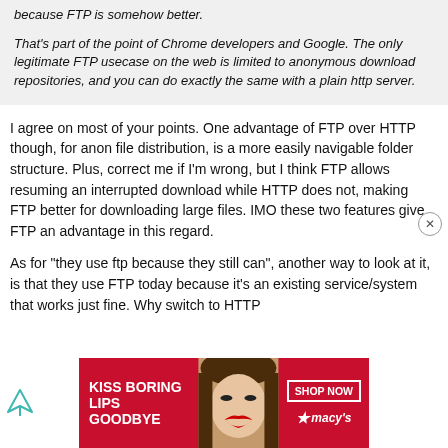because FTP is somehow better.

That's part of the point of Chrome developers and Google. The only legitimate FTP usecase on the web is limited to anonymous download repositories, and you can do exactly the same with a plain http server.
I agree on most of your points. One advantage of FTP over HTTP though, for anon file distribution, is a more easily navigable folder structure. Plus, correct me if I'm wrong, but I think FTP allows resuming an interrupted download while HTTP does not, making FTP better for downloading large files. IMO these two features give FTP an advantage in this regard.
As for "they use ftp because they still can", another way to look at it, is that they use FTP today because it's an existing service/system that works just fine. Why switch to HTTP
[Figure (infographic): Macy's advertisement banner: red background with woman's face, red lips. Text: KISS BORING LIPS GOODBYE. SHOP NOW button. Macy's star logo.]